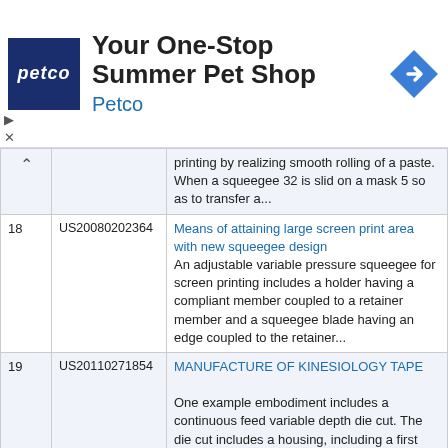[Figure (other): Petco advertisement banner with logo, text 'Your One-Stop Summer Pet Shop / Petco', blue navigation arrow icon, and ad controls (play and close buttons).]
| # | Patent Number | Title / Abstract |
| --- | --- | --- |
|  | ^ | printing by realizing smooth rolling of a paste. When a squeegee 32 is slid on a mask 5 so as to transfer a... |
| 18 | US20080202364 | Means of attaining large screen print area with new squeegee design
An adjustable variable pressure squeegee for screen printing includes a holder having a compliant member coupled to a retainer member and a squeegee blade having an edge coupled to the retainer... |
| 19 | US20110271854 | MANUFACTURE OF KINESIOLOGY TAPE

One example embodiment includes a continuous feed variable depth die cut. The die cut includes a housing, including a first opening configured to allow kinesiology tape to enter the housing and a... |
| 20 | US20050087084 | Squeegee handle assembly |